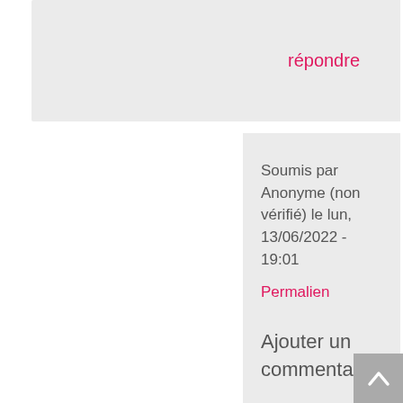répondre
Soumis par Anonyme (non vérifié) le lun, 13/06/2022 - 19:01
Permalien
Ajouter un commentaire